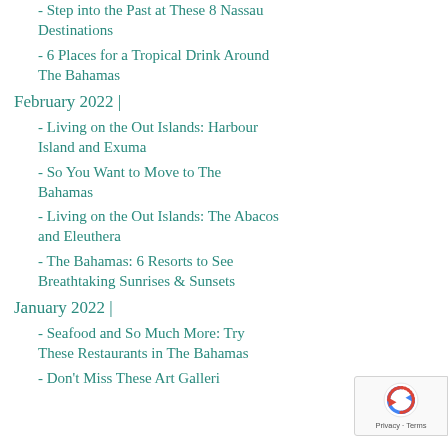- Step into the Past at These 8 Nassau Destinations
- 6 Places for a Tropical Drink Around The Bahamas
February 2022 |
- Living on the Out Islands: Harbour Island and Exuma
- So You Want to Move to The Bahamas
- Living on the Out Islands: The Abacos and Eleuthera
- The Bahamas: 6 Resorts to See Breathtaking Sunrises & Sunsets
January 2022 |
- Seafood and So Much More: Try These Restaurants in The Bahamas
- Don't Miss These Art Galleries...